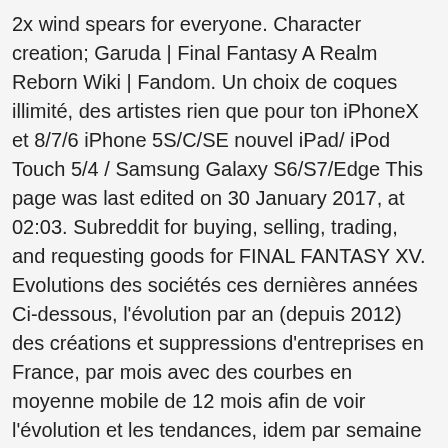2x wind spears for everyone. Character creation; Garuda | Final Fantasy A Realm Reborn Wiki | Fandom. Un choix de coques illimité, des artistes rien que pour ton iPhoneX et 8/7/6 iPhone 5S/C/SE nouvel iPad/ iPod Touch 5/4 / Samsung Galaxy S6/S7/Edge This page was last edited on 30 January 2017, at 02:03. Subreddit for buying, selling, trading, and requesting goods for FINAL FANTASY XV. Evolutions des sociétés ces dernières années Ci-dessous, l'évolution par an (depuis 2012) des créations et suppressions d'entreprises en France, par mois avec des courbes en moyenne mobile de 12 mois afin de voir l'évolution et les tendances, idem par semaine avec des moyennes mobiles sur 4 semaines. Surendra-jit OD; Multi-hit wind damage to random allies. 936 Pages. Self-inflicts DA Down Double attack rate is lowered. Get contactless delivery for restaurant takeout, groceries, and more! Garuda's second appearance is in an attack on Luca's Blitzball Stadium. You can help the Final Fantasy Wiki by, This section about an enemy in Final Fantasy Record Keeper is empty or needs to be expanded. Please note tooltip codes can only be used on compatible websites. MODERATORS. Final Fantasy X PlayStation 2 – Final